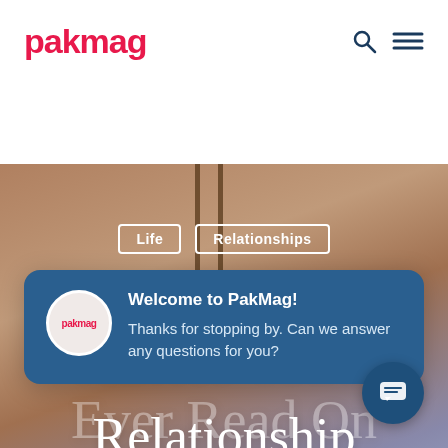[Figure (logo): pakmag logo in pink/red bold text]
[Figure (photo): Hero image of two people on a swing with warm blurred background. Overlaid with category tags Life and Relationships and article title The Best Advice You'll Ever Read On Making Your Relationship Last]
Welcome to PakMag!
Thanks for stopping by. Can we answer any questions for you?